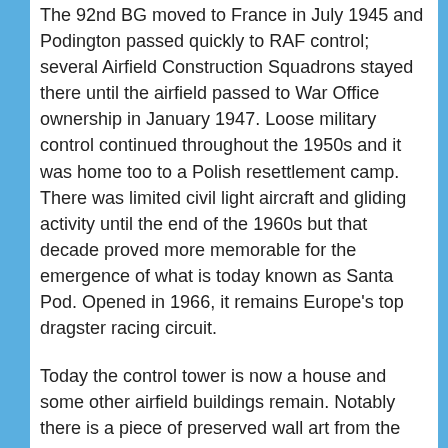The 92nd BG moved to France in July 1945 and Podington passed quickly to RAF control; several Airfield Construction Squadrons stayed there until the airfield passed to War Office ownership in January 1947. Loose military control continued throughout the 1950s and it was home too to a Polish resettlement camp. There was limited civil light aircraft and gliding activity until the end of the 1960s but that decade proved more memorable for the emergence of what is today known as Santa Pod. Opened in 1966, it remains Europe's top dragster racing circuit.
Today the control tower is now a house and some other airfield buildings remain. Notably there is a piece of preserved wall art from the airfield featuring a B-17 at the Imperial War Museum at Duxford.
The following organisations are either based at, use and/or have at least potentially significant connections with the airfield (as at 01/09/2011):